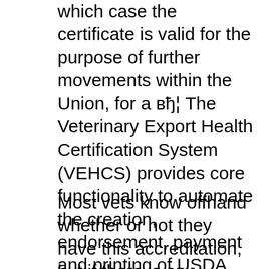which case the certificate is valid for the purpose of further movements within the Union, for a вђ¦ The Veterinary Export Health Certification System (VEHCS) provides core functionality to automate the creation, endorsement, payment and printing of USDA Veterinary Export Health Certificates based on the Model Veterinary Certificates for International Trade in Live Animals, Hatching Eggs and Products of вђ¦
Most vets know offhand whether or not they have this accreditation, but if there is any uncertainty, the nearest USDA Veterinary Services office can double check accreditation status of…